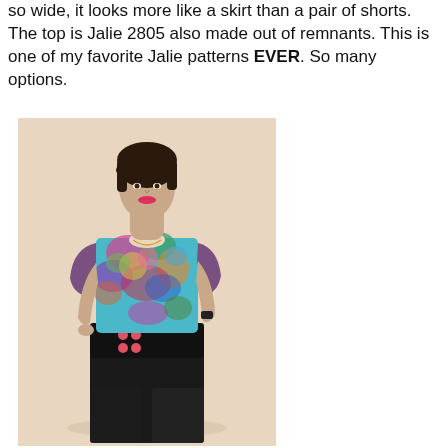so wide, it looks more like a skirt than a pair of shorts. The top is Jalie 2805 also made out of remnants. This is one of my favorite Jalie patterns EVER. So many options.
[Figure (photo): A woman with short dark hair and red lips wearing a colorful floral print top with purple sleeves and high-waisted black shorts with pink buttons, standing against a light beige background.]